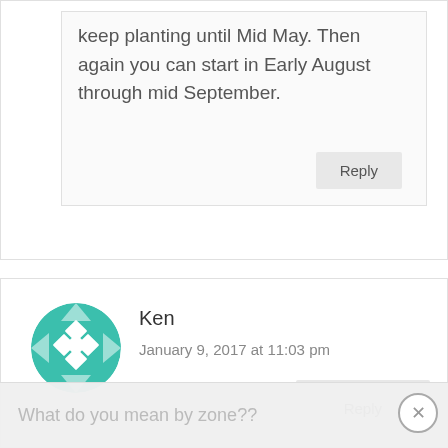keep planting until Mid May. Then again you can start in Early August through mid September.
Reply
Ken
January 9, 2017 at 11:03 pm
[Figure (illustration): Teal avatar with geometric diamond pattern in a circle]
What do you mean by zone??
Reply